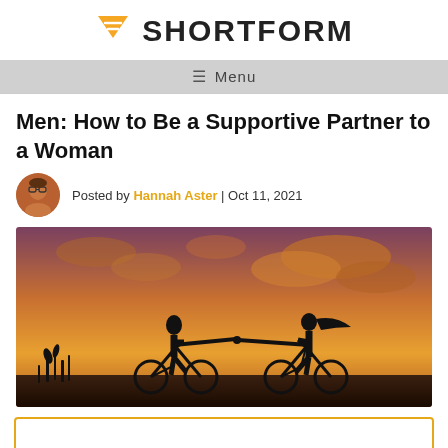SHORTFORM
≡ Menu
Men: How to Be a Supportive Partner to a Woman
Posted by Hannah Aster | Oct 11, 2021
[Figure (photo): Silhouette of a man and woman riding bicycles at sunset, holding hands across the gap between them, against an orange and purple cloudy sky.]